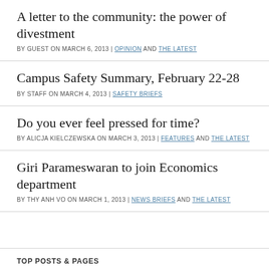A letter to the community: the power of divestment
BY GUEST ON MARCH 6, 2013 | OPINION AND THE LATEST
Campus Safety Summary, February 22-28
BY STAFF ON MARCH 4, 2013 | SAFETY BRIEFS
Do you ever feel pressed for time?
BY ALICJA KIELCZEWSKA ON MARCH 3, 2013 | FEATURES AND THE LATEST
Giri Parameswaran to join Economics department
BY THY ANH VO ON MARCH 1, 2013 | NEWS BRIEFS AND THE LATEST
TOP POSTS & PAGES
Measuring Academics or Measuring Wealth? A Look